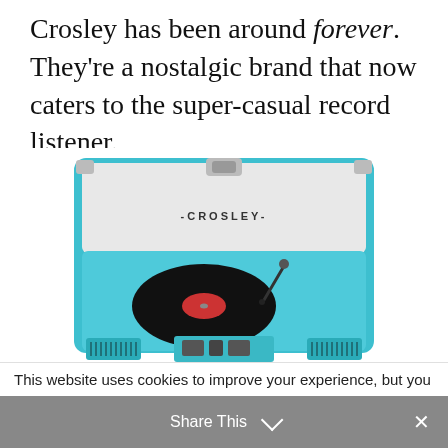Crosley has been around forever. They're a nostalgic brand that now caters to the super-casual record listener.
[Figure (photo): A teal/turquoise Crosley portable record player (suitcase-style turntable) open with a vinyl record on the platter, showing the CROSLEY brand name on the inside lid.]
This website uses cookies to improve your experience, but you
Share This ∨ ×